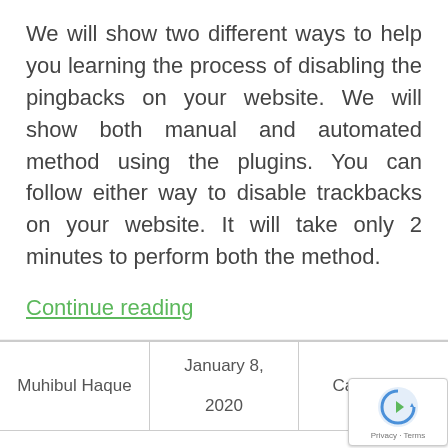We will show two different ways to help you learning the process of disabling the pingbacks on your website. We will show both manual and automated method using the plugins. You can follow either way to disable trackbacks on your website. It will take only 2 minutes to perform both the method.
Continue reading
| Muhibul Haque | January 8,

2020 | Categories |